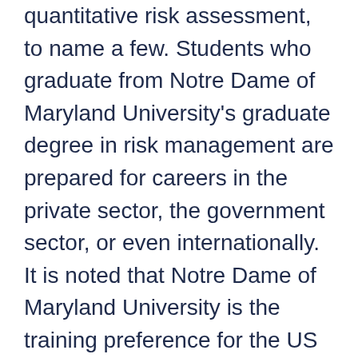quantitative risk assessment, to name a few. Students who graduate from Notre Dame of Maryland University's graduate degree in risk management are prepared for careers in the private sector, the government sector, or even internationally. It is noted that Notre Dame of Maryland University is the training preference for the US Army Corps of Engineers.
Notre Dame of Maryland University was established originally as a prep school in 1873. The School Sisters of Notre Dame, a Roman Catholic Church denomination, administer the school's curriculum and